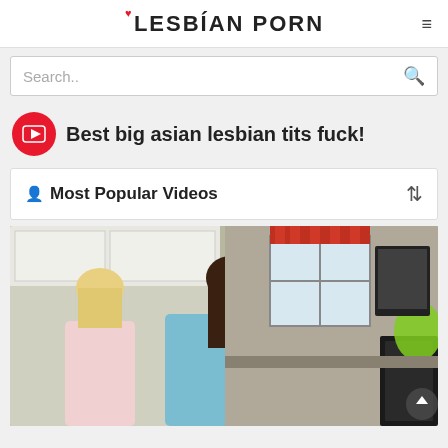LESBIAN PORN
Search..
Best big asian lesbian tits fuck!
Most Popular Videos
[Figure (photo): Video thumbnail showing two women in a kitchen scene]